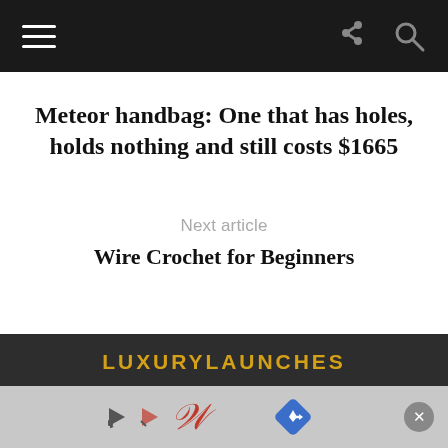Navigation bar with hamburger menu, share icon, and search icon
Meteor handbag: One that has holes, holds nothing and still costs $1665
Next article
Wire Crochet for Beginners
LUXURYLAUNCHES
Luxurylaunches.com is an award winning premium lifestyle website. It features the latest and the best from the world of extravagance and opulence.
[Figure (infographic): Advertisement banner with Walgreens logo and directions icon]